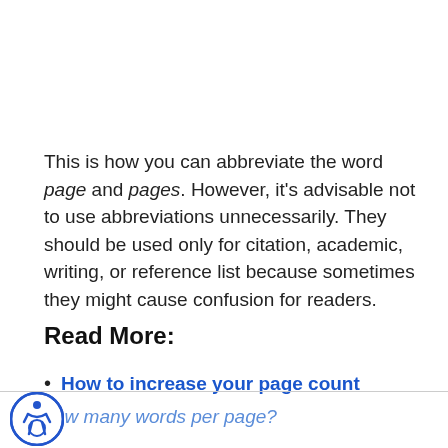This is how you can abbreviate the word page and pages. However, it's advisable not to use abbreviations unnecessarily. They should be used only for citation, academic, writing, or reference list because sometimes they might cause confusion for readers.
Read More:
How to increase your page count
ow many words per page?